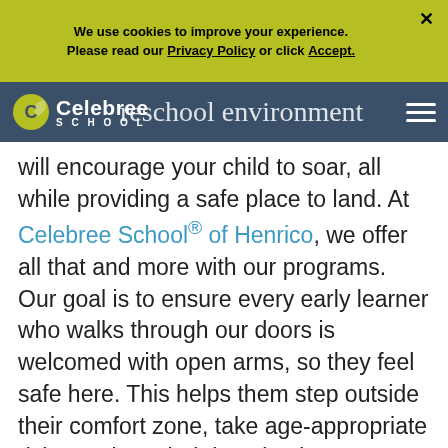We use cookies to improve your experience. Please read our Privacy Policy or click Accept.
Celebree School — preschool environment
will encourage your child to soar, all while providing a safe place to land. At Celebree School® of Henrico, we offer all that and more with our programs. Our goal is to ensure every early learner who walks through our doors is welcomed with open arms, so they feel safe here. This helps them step outside their comfort zone, take age-appropriate risks, and put their imagination to use, developing vital skills in the process.